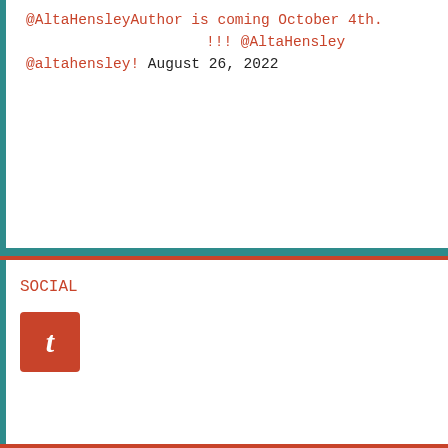@AltaHensleyAuthor is coming October 4th. !!! @AltaHensley @altahensley! August 26, 2022
SOCIAL
[Figure (logo): Tumblr logo icon — orange-red square with white italic 't']
FOLLOW ME ON TWITTER